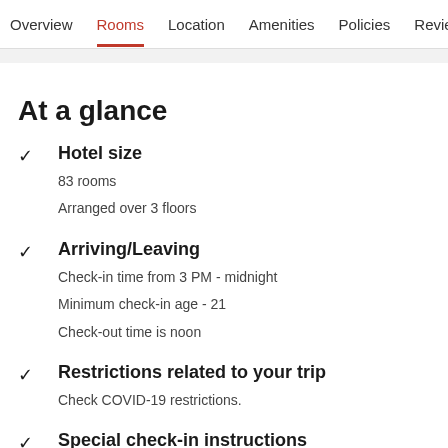Overview  Rooms  Location  Amenities  Policies  Reviews
At a glance
Hotel size
83 rooms
Arranged over 3 floors
Arriving/Leaving
Check-in time from 3 PM - midnight
Minimum check-in age - 21
Check-out time is noon
Restrictions related to your trip
Check COVID-19 restrictions.
Special check-in instructions